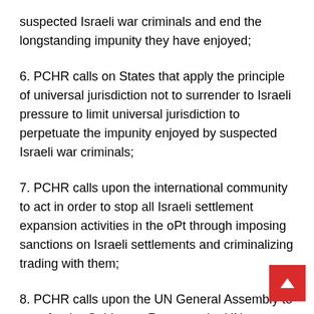suspected Israeli war criminals and end the longstanding impunity they have enjoyed;
6. PCHR calls on States that apply the principle of universal jurisdiction not to surrender to Israeli pressure to limit universal jurisdiction to perpetuate the impunity enjoyed by suspected Israeli war criminals;
7. PCHR calls upon the international community to act in order to stop all Israeli settlement expansion activities in the oPt through imposing sanctions on Israeli settlements and criminalizing trading with them;
8. PCHR calls upon the UN General Assembly to transfer the Goldstone Report to the UN